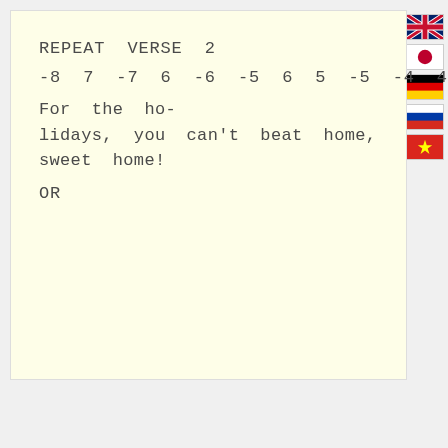REPEAT VERSE 2
-8 7 -7 6 -6 -5 6 5 -5 -4 4
For the ho-lidays, you can't beat home, sweet home!
OR